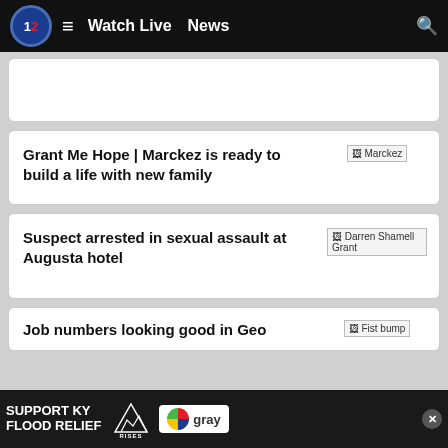12 | Watch Live | News
[Figure (screenshot): Partial news card at top, content cut off]
Grant Me Hope | Marckez is ready to build a life with new family
[Figure (photo): Broken image placeholder labeled Marckez]
Suspect arrested in sexual assault at Augusta hotel
[Figure (photo): Broken image placeholder labeled Darren Shamell Grant]
Job numbers looking good in Geo…
[Figure (photo): Broken image placeholder labeled Fist bump]
[Figure (infographic): Ad banner: SUPPORT KY FLOOD RELIEF — Appalachia Rises — Gray logo]